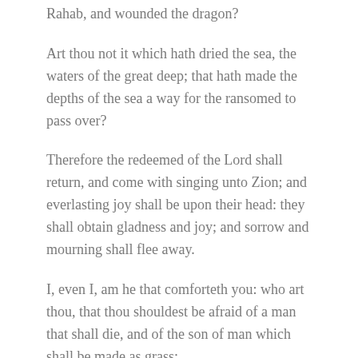Rahab, and wounded the dragon?
Art thou not it which hath dried the sea, the waters of the great deep; that hath made the depths of the sea a way for the ransomed to pass over?
Therefore the redeemed of the Lord shall return, and come with singing unto Zion; and everlasting joy shall be upon their head: they shall obtain gladness and joy; and sorrow and mourning shall flee away.
I, even I, am he that comforteth you: who art thou, that thou shouldest be afraid of a man that shall die, and of the son of man which shall be made as grass;
And forgettest the Lord thy maker, that hath stretched forth the heavens, and laid the